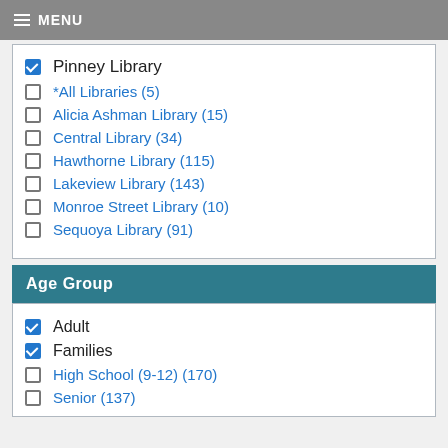MENU
Pinney Library (checked)
*All Libraries (5)
Alicia Ashman Library (15)
Central Library (34)
Hawthorne Library (115)
Lakeview Library (143)
Monroe Street Library (10)
Sequoya Library (91)
Age Group
Adult (checked)
Families (checked)
High School (9-12) (170)
Senior (137)